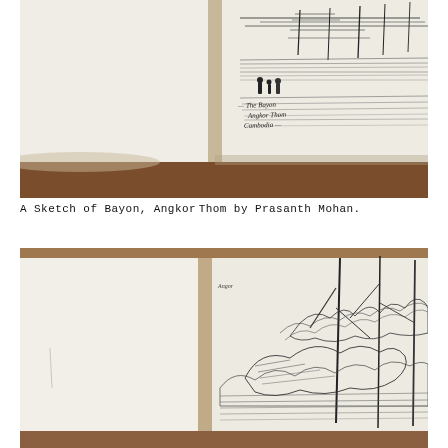[Figure (photo): A photograph of an open sketchbook showing a pen-and-ink sketch of Bayon, Angkor Thom, Cambodia. The sketch shows architectural structures with figures. Handwritten annotation reads 'The Bayon, Angkor Thom, Cambodia'. The sketchbook rests on a brown wooden surface.]
A Sketch of Bayon, Angkor Thom by Prasanth Mohan.
[Figure (photo): A photograph of an open sketchbook showing a pen-and-ink sketch of a landscape or ruins with trees and foliage, likely also from Angkor. The sketchbook rests on a brown surface.]